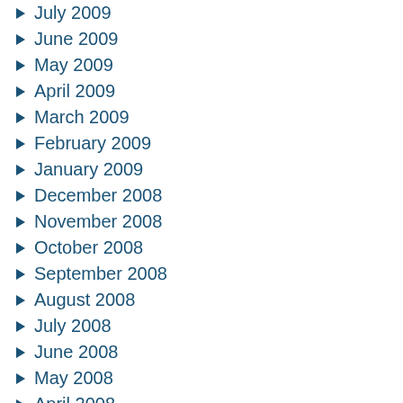July 2009
June 2009
May 2009
April 2009
March 2009
February 2009
January 2009
December 2008
November 2008
October 2008
September 2008
August 2008
July 2008
June 2008
May 2008
April 2008
February 2008
January 2008